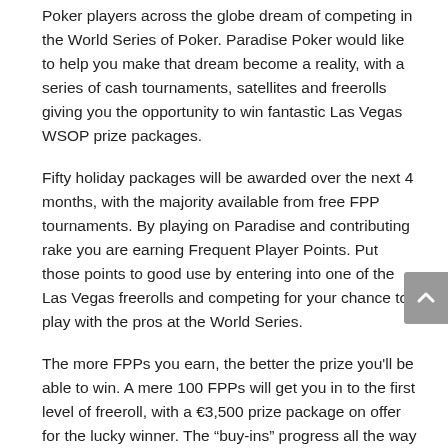Poker players across the globe dream of competing in the World Series of Poker. Paradise Poker would like to help you make that dream become a reality, with a series of cash tournaments, satellites and freerolls giving you the opportunity to win fantastic Las Vegas WSOP prize packages.
Fifty holiday packages will be awarded over the next 4 months, with the majority available from free FPP tournaments. By playing on Paradise and contributing rake you are earning Frequent Player Points. Put those points to good use by entering into one of the Las Vegas freerolls and competing for your chance to play with the pros at the World Series.
The more FPPs you earn, the better the prize you'll be able to win. A mere 100 FPPs will get you in to the first level of freeroll, with a €3,500 prize package on offer for the lucky winner. The “buy-ins” progress all the way up to 2,000 FPPs, where the victor can look to collect four